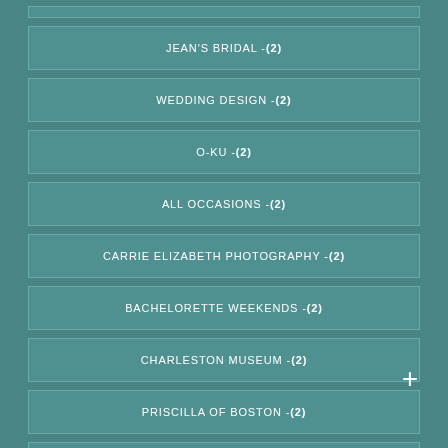JEAN'S BRIDAL - (2)
WEDDING DESIGN - (2)
O-KU - (2)
ALL OCCASIONS - (2)
CARRIE ELIZABETH PHOTOGRAPHY - (2)
BACHELORETTE WEEKENDS - (2)
CHARLESTON MUSEUM - (2)
PRISCILLA OF BOSTON - (2)
BELLA VISTA BRIDAL - (2)
COASTAL COMMUNITY FOUNDATION - (2)